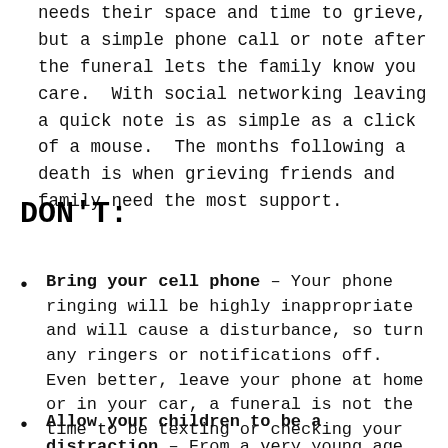Keep in touch – You may feel that the family needs their space and time to grieve, but a simple phone call or note after the funeral lets the family know you care.  With social networking leaving a quick note is as simple as a click of a mouse.  The months following a death is when grieving friends and family need the most support.
DON'T:
Bring your cell phone – Your phone ringing will be highly inappropriate and will cause a disturbance, so turn any ringers or notifications off.  Even better, leave your phone at home or in your car, a funeral is not the time to be texting or checking your messages.
Allow your children to be a distraction – From a very young age children are aware of death, and